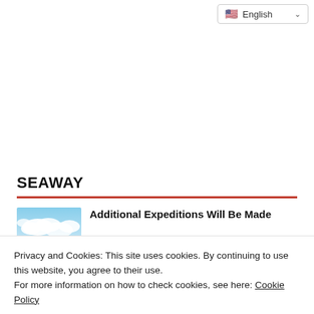🇺🇸 English ∨
SEAWAY
Additional Expeditions Will Be Made
Privacy and Cookies: This site uses cookies. By continuing to use this website, you agree to their use.
For more information on how to check cookies, see here: Cookie Policy
OK